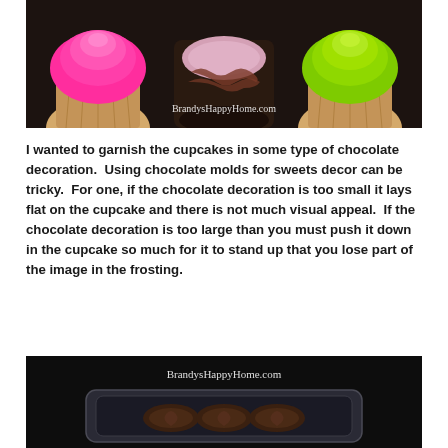[Figure (photo): Three cupcakes with colorful frosting (pink, pink/lavender, green) beside a dark brown/pink ceramic piece, with watermark 'BrandysHappyHome.com']
I wanted to garnish the cupcakes in some type of chocolate decoration.  Using chocolate molds for sweets decor can be tricky.  For one, if the chocolate decoration is too small it lays flat on the cupcake and there is not much visual appeal.  If the chocolate decoration is too large than you must push it down in the cupcake so much for it to stand up that you lose part of the image in the frosting.
[Figure (photo): Dark background photo showing a chocolate mold package with watermark 'BrandysHappyHome.com']